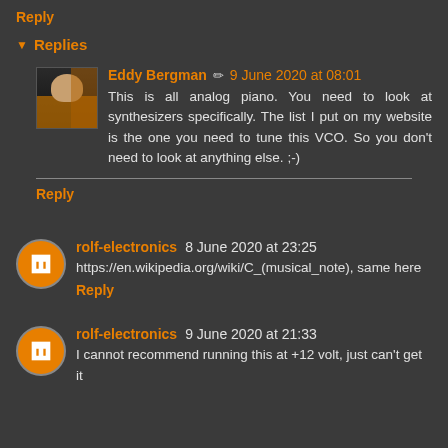Reply
Replies
Eddy Bergman  9 June 2020 at 08:01
This is all analog piano. You need to look at synthesizers specifically. The list I put on my website is the one you need to tune this VCO. So you don't need to look at anything else. ;-)
Reply
rolf-electronics  8 June 2020 at 23:25
https://en.wikipedia.org/wiki/C_(musical_note), same here
Reply
rolf-electronics  9 June 2020 at 21:33
I cannot recommend running this at +12 volt, just can't get it